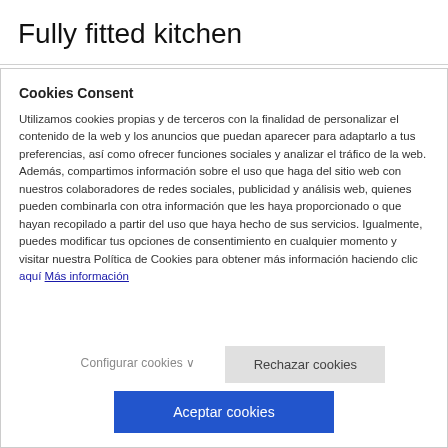Fully fitted kitchen
Cookies Consent
Utilizamos cookies propias y de terceros con la finalidad de personalizar el contenido de la web y los anuncios que puedan aparecer para adaptarlo a tus preferencias, así como ofrecer funciones sociales y analizar el tráfico de la web. Además, compartimos información sobre el uso que haga del sitio web con nuestros colaboradores de redes sociales, publicidad y análisis web, quienes pueden combinarla con otra información que les haya proporcionado o que hayan recopilado a partir del uso que haya hecho de sus servicios. Igualmente, puedes modificar tus opciones de consentimiento en cualquier momento y visitar nuestra Política de Cookies para obtener más información haciendo clic aquí Más información
Configurar cookies ∨
Rechazar cookies
Aceptar cookies